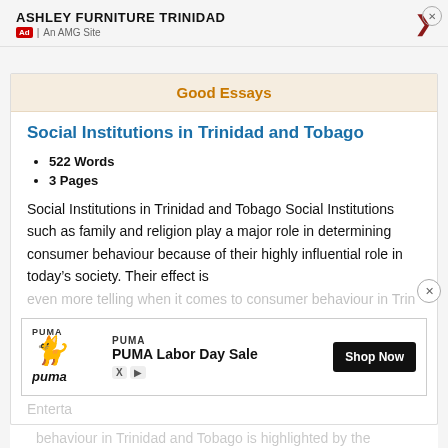ASHLEY FURNITURE TRINIDAD | Ad | An AMG Site
Good Essays
Social Institutions in Trinidad and Tobago
522 Words
3 Pages
Social Institutions in Trinidad and Tobago Social Institutions such as family and religion play a major role in determining consumer behaviour because of their highly influential role in today's society. Their effect is even more telling when it comes to consumer behaviour in Trin... Entertainment... behaviour in Trinidad and Tobago is highlighted by the
[Figure (screenshot): PUMA Labor Day Sale advertisement banner with Shop Now button]